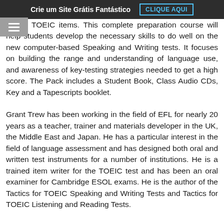Crie um Site Grátis Fantástico   CLIQUE AQUI
official TOEIC items. This complete preparation course will help students develop the necessary skills to do well on the new computer-based Speaking and Writing tests. It focuses on building the range and understanding of language use, and awareness of key-testing strategies needed to get a high score. The Pack includes a Student Book, Class Audio CDs, Key and a Tapescripts booklet.
Grant Trew has been working in the field of EFL for nearly 20 years as a teacher, trainer and materials developer in the UK, the Middle East and Japan. He has a particular interest in the field of language assessment and has designed both oral and written test instruments for a number of institutions. He is a trained item writer for the TOEIC test and has been an oral examiner for Cambridge ESOL exams. He is the author of the Tactics for TOEIC Speaking and Writing Tests and Tactics for TOEIC Listening and Reading Tests.